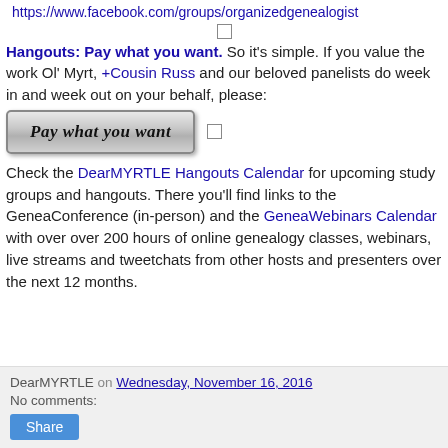https://www.facebook.com/groups/organizedgenealogist
Hangouts: Pay what you want. So it's simple. If you value the work Ol' Myrt, +Cousin Russ and our beloved panelists do week in and week out on your behalf, please:
[Figure (other): Pay what you want button - a styled button with italic bold text reading 'Pay what you want']
Check the DearMYRTLE Hangouts Calendar for upcoming study groups and hangouts. There you'll find links to the GeneaConference (in-person) and the GeneaWebinars Calendar with over over 200 hours of online genealogy classes, webinars, live streams and tweetchats from other hosts and presenters over the next 12 months.
DearMYRTLE on Wednesday, November 16, 2016
No comments:
Share